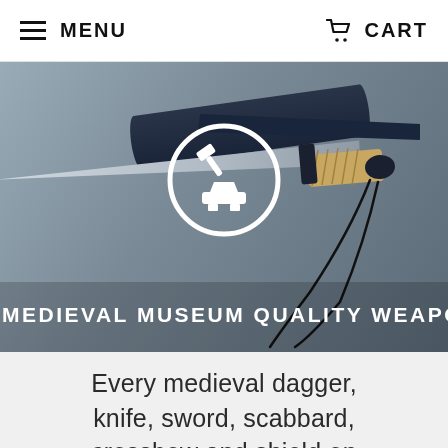MENU   CART
[Figure (photo): Photo of a medieval dagger with dark sheath and wrapped handle, with a blacksmith/anvil logo overlay and text 'MEDIEVAL MUSEUM QUALITY WEAPONS' at the bottom]
Every medieval dagger, knife, sword, scabbard, crossbow and shield on these pages is hand made